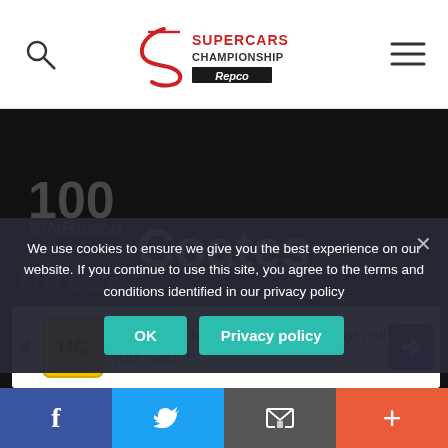Supercars Championship Repco
[Figure (screenshot): Dark background with Repco 100 years logo on left and 'Coates' text in center, with 'hp' text below]
We use cookies to ensure we give you the best experience on our website. If you continue to use this site, you agree to the terms and conditions identified in our privacy policy
OK
Privacy policy
[Figure (infographic): Advertisement banner: View store hours, get directions, or call your salon!]
Social share buttons: Facebook, Twitter, Share, Plus